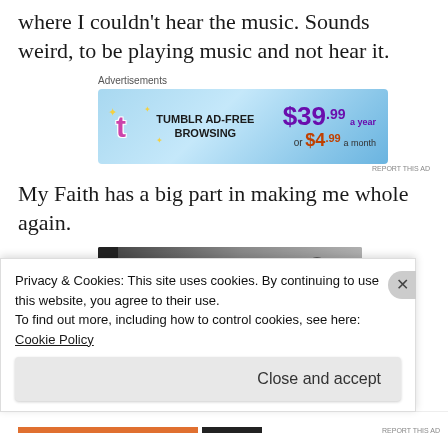where I couldn't hear the music. Sounds weird, to be playing music and not hear it.
[Figure (screenshot): Tumblr Ad-Free Browsing advertisement banner. Shows Tumblr logo, text 'TUMBLR AD-FREE BROWSING', price '$39.99 a year or $4.99 a month' on a blue gradient background. Labeled 'Advertisements' above and 'REPORT THIS AD' below.]
My Faith has a big part in making me whole again.
[Figure (photo): Partial photograph, mostly dark/grey tones, cropped at bottom of visible area.]
Privacy & Cookies: This site uses cookies. By continuing to use this website, you agree to their use.
To find out more, including how to control cookies, see here:
Cookie Policy
Close and accept